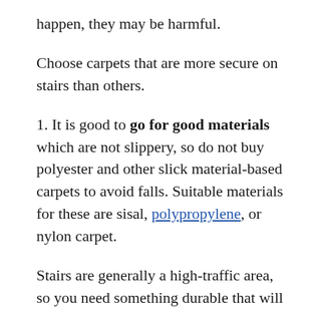happen, they may be harmful.
Choose carpets that are more secure on stairs than others.
1. It is good to go for good materials which are not slippery, so do not buy polyester and other slick material-based carpets to avoid falls. Suitable materials for these are sisal, polypropylene, or nylon carpet.
Stairs are generally a high-traffic area, so you need something durable that will stay in good condition in the future without considering